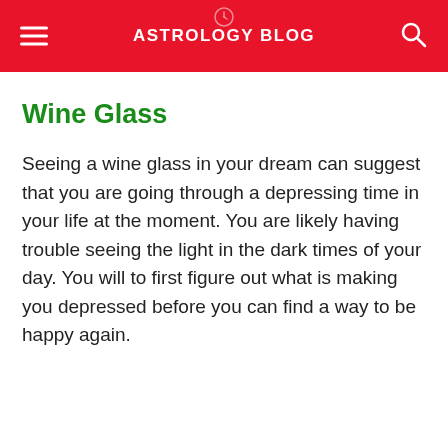ASTROLOGY BLOG
Wine Glass
Seeing a wine glass in your dream can suggest that you are going through a depressing time in your life at the moment. You are likely having trouble seeing the light in the dark times of your day. You will to first figure out what is making you depressed before you can find a way to be happy again.